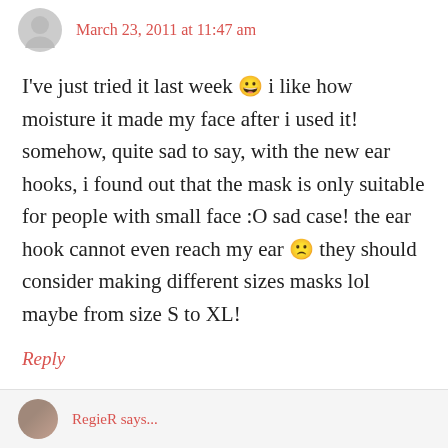March 23, 2011 at 11:47 am
I've just tried it last week 😀 i like how moisture it made my face after i used it! somehow, quite sad to say, with the new ear hooks, i found out that the mask is only suitable for people with small face :O sad case! the ear hook cannot even reach my ear 🙁 they should consider making different sizes masks lol maybe from size S to XL!
Reply